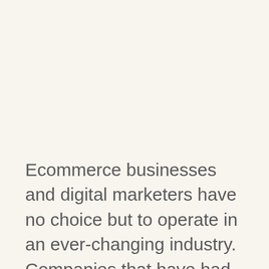Ecommerce businesses and digital marketers have no choice but to operate in an ever-changing industry. Companies that have had an online presence have already witnessed how drastically the online landscape has changed, especially when it comes to